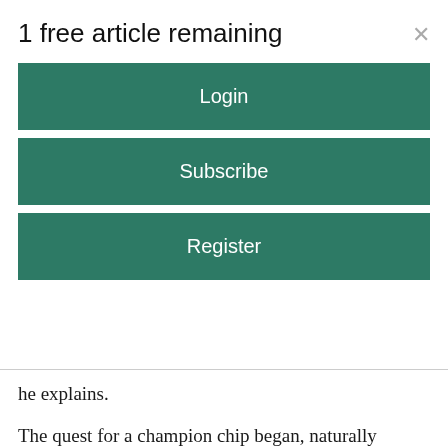1 free article remaining
Login
Subscribe
Register
he explains.
The quest for a champion chip began, naturally enough, with a search for corn,